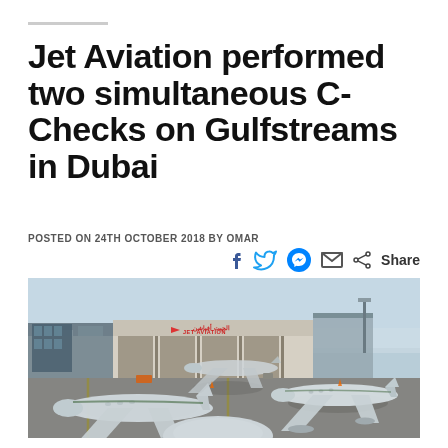Jet Aviation performed two simultaneous C-Checks on Gulfstreams in Dubai
POSTED ON 24TH OCTOBER 2018 BY OMAR
[Figure (photo): Aerial view of Jet Aviation MRO facility in Dubai with several Gulfstream business jets parked on the tarmac in front of a large hangar bearing the Jet Aviation logo and Arabic text.]